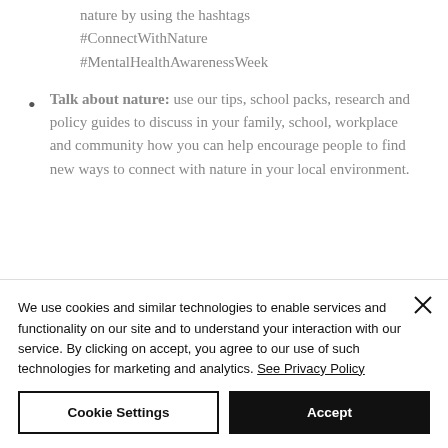nature by using the hashtags #ConnectWithNature #MentalHealthAwarenessWeek
Talk about nature: use our tips, school packs, research and policy guides to discuss in your family, school, workplace and community how you can help encourage people to find new ways to connect with nature in your local environment.
We use cookies and similar technologies to enable services and functionality on our site and to understand your interaction with our service. By clicking on accept, you agree to our use of such technologies for marketing and analytics. See Privacy Policy
Cookie Settings
Accept